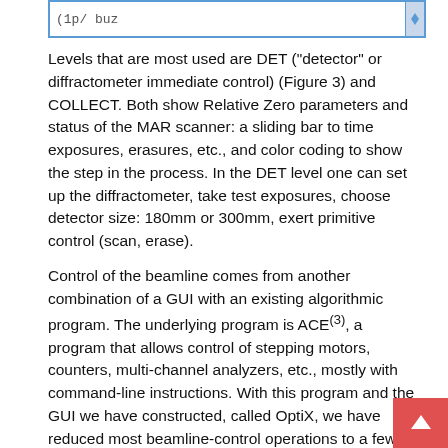[Figure (screenshot): A text input box UI element with a blue border and scroll indicator on the right side, showing partial text content.]
Levels that are most used are DET ("detector" or diffractometer immediate control) (Figure 3) and COLLECT. Both show Relative Zero parameters and status of the MAR scanner: a sliding bar to time exposures, erasures, etc., and color coding to show the step in the process. In the DET level one can set up the diffractometer, take test exposures, choose detector size: 180mm or 300mm, exert primitive control (scan, erase).
Control of the beamline comes from another combination of a GUI with an existing algorithmic program. The underlying program is ACE(3), a program that allows control of stepping motors, counters, multi-channel analyzers, etc., mostly with command-line instructions. With this program and the GUI we have constructed, called OptiX, we have reduced most beamline-control operations to a few button pushes. For example, ordinary beamline alignment requires only a button push to launch a few linked scans of the motorized table that carries the diffractometer, with optimisation logic providing the final position (Figure 4). A graph appears during the scan to